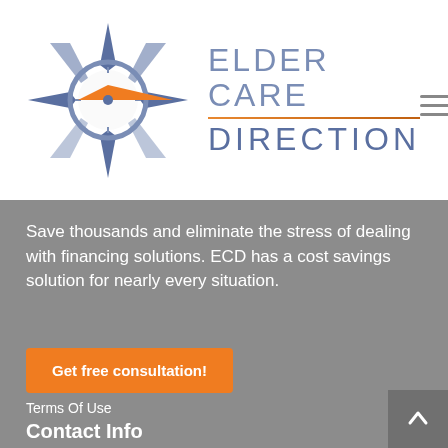[Figure (logo): Elder Care Direction logo with compass star icon and orange arrow, accompanied by stylized text 'ELDER CARE DIRECTION']
Save thousands and eliminate the stress of dealing with financing solutions. ECD has a cost savings solution for nearly every situation.
Get free consultation!
Terms Of Use
Contact Info